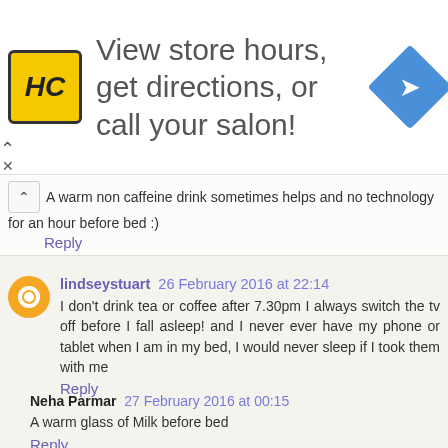[Figure (other): Advertisement banner: HC logo in yellow square, text 'View store hours, get directions, or call your salon!', blue diamond navigation icon]
A warm non caffeine drink sometimes helps and no technology for an hour before bed :)
Reply
lindseystuart 26 February 2016 at 22:14
I don't drink tea or coffee after 7.30pm I always switch the tv off before I fall asleep! and I never ever have my phone or tablet when I am in my bed, I would never sleep if I took them with me
Reply
Neha Parmar 27 February 2016 at 00:15
A warm glass of Milk before bed
Reply